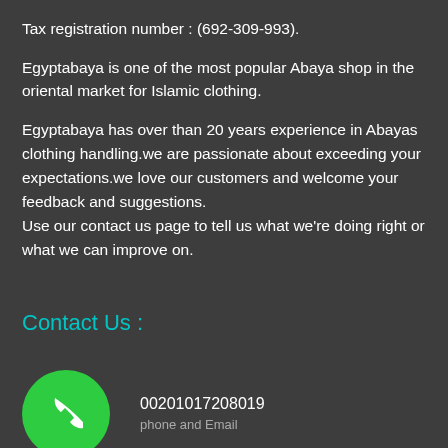Tax registration number : (692-309-993).
Egyptabaya is one of the most popular Abaya shop in the oriental market for Islamic clothing.
Egyptabaya has over than 20 years experience in Abayas clothing handling.we are passionate about exceeding your expectations.we love our customers and welcome your feedback and suggestions.
Use our contact us page to tell us what we're doing right or what we can improve on.
Contact Us :
00201017208019